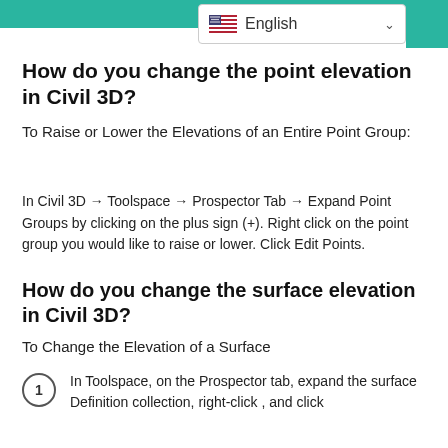[Figure (screenshot): Language selector dropdown showing US flag and English text with chevron]
How do you change the point elevation in Civil 3D?
To Raise or Lower the Elevations of an Entire Point Group:
In Civil 3D → Toolspace → Prospector Tab → Expand Point Groups by clicking on the plus sign (+). Right click on the point group you would like to raise or lower. Click Edit Points.
How do you change the surface elevation in Civil 3D?
To Change the Elevation of a Surface
In Toolspace, on the Prospector tab, expand the surface Definition collection, right-click , and click